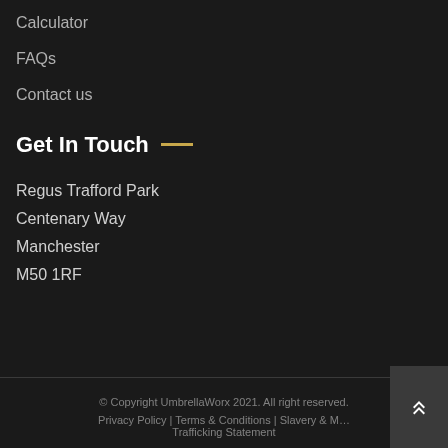Calculator
FAQs
Contact us
Get In Touch
Regus Trafford Park
Centenary Way
Manchester
M50 1RF
© Copyright UmbrellaWorx 2021. All right reserved. Privacy Policy | Terms & Conditions | Slavery & Modern Trafficking Statement